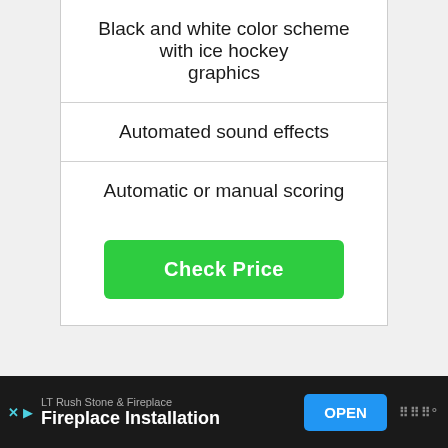Black and white color scheme with ice hockey graphics
Automated sound effects
Automatic or manual scoring
[Figure (other): Green Check Price button]
[Figure (other): Empty carousel area with three dot indicators]
[Figure (other): Advertisement banner: LT Rush Stone & Fireplace - Fireplace Installation with OPEN button]